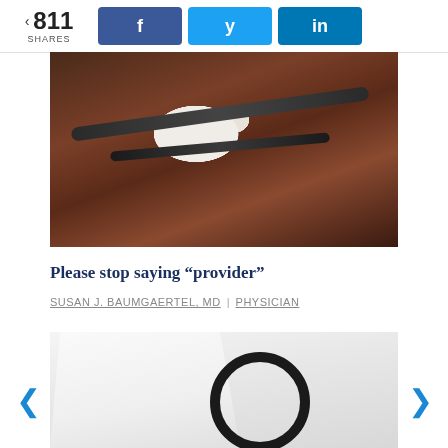811 SHARES | Facebook | Twitter | LinkedIn
[Figure (photo): Close-up photo of a stethoscope resting on a dark wooden surface]
Please stop saying “provider”
SUSAN J. BAUMGAERTEL, MD | PHYSICIAN
[Figure (photo): Photo of a person in a white doctor coat holding a stethoscope]